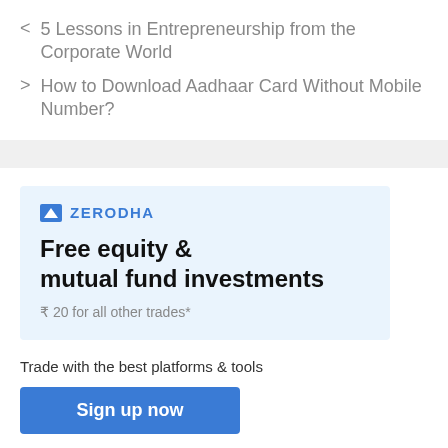< 5 Lessons in Entrepreneurship from the Corporate World
> How to Download Aadhaar Card Without Mobile Number?
[Figure (other): Zerodha advertisement banner with logo, headline 'Free equity & mutual fund investments', subtext '₹ 20 for all other trades*', tagline 'Trade with the best platforms & tools', and a 'Sign up now' button]
Trade with the best platforms & tools
Sign up now